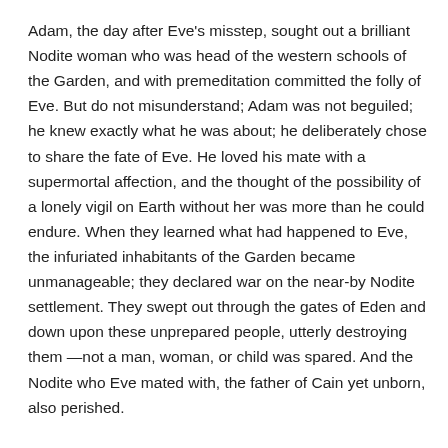Adam, the day after Eve's misstep, sought out a brilliant Nodite woman who was head of the western schools of the Garden, and with premeditation committed the folly of Eve. But do not misunderstand; Adam was not beguiled; he knew exactly what he was about; he deliberately chose to share the fate of Eve. He loved his mate with a supermortal affection, and the thought of the possibility of a lonely vigil on Earth without her was more than he could endure. When they learned what had happened to Eve, the infuriated inhabitants of the Garden became unmanageable; they declared war on the near-by Nodite settlement. They swept out through the gates of Eden and down upon these unprepared people, utterly destroying them —not a man, woman, or child was spared. And the Nodite who Eve mated with, the father of Cain yet unborn, also perished.